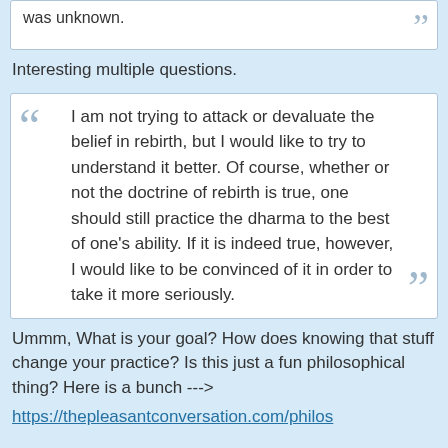was unknown.
Interesting multiple questions.
I am not trying to attack or devaluate the belief in rebirth, but I would like to try to understand it better. Of course, whether or not the doctrine of rebirth is true, one should still practice the dharma to the best of one's ability. If it is indeed true, however, I would like to be convinced of it in order to take it more seriously.
Ummm, What is your goal? How does knowing that stuff change your practice? Is this just a fun philosophical thing? Here is a bunch --->
https://thepleasantconversation.com/philos